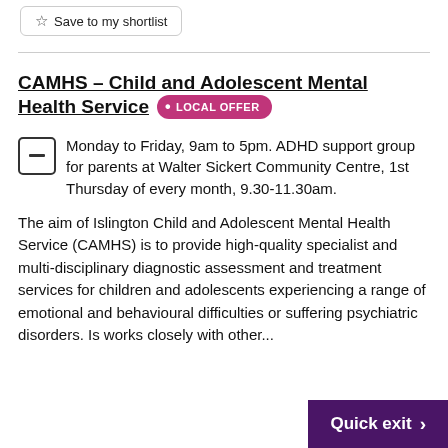Save to my shortlist
CAMHS - Child and Adolescent Mental Health Service • LOCAL OFFER
Monday to Friday, 9am to 5pm. ADHD support group for parents at Walter Sickert Community Centre, 1st Thursday of every month, 9.30-11.30am.
The aim of Islington Child and Adolescent Mental Health Service (CAMHS) is to provide high-quality specialist and multi-disciplinary diagnostic assessment and treatment services for children and adolescents experiencing a range of emotional and behavioural difficulties or suffering psychiatric disorders. Is works closely with other...